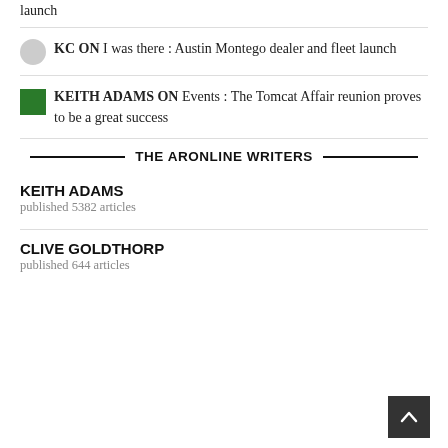launch
KC ON I was there : Austin Montego dealer and fleet launch
KEITH ADAMS ON Events : The Tomcat Affair reunion proves to be a great success
THE ARONLINE WRITERS
KEITH ADAMS
published 5382 articles
CLIVE GOLDTHORP
published 644 articles